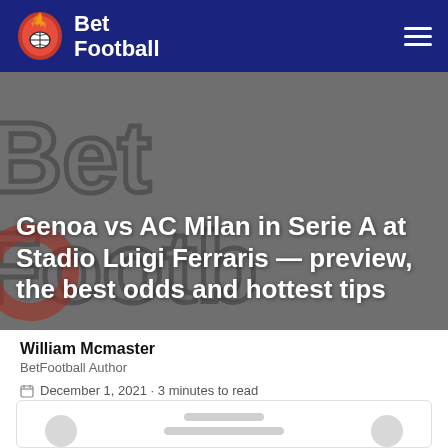BetFootball
[Figure (photo): Hero banner with BetFootball branded grey background showing large outlined 'BetFootball' lettering, overlaid with white bold article title text]
Genoa vs AC Milan in Serie A at Stadio Luigi Ferraris — preview, the best odds and hottest tips
William Mcmaster
BetFootball Author
December 1, 2021 · 3 minutes to read
[Figure (other): Loading placeholder card with skeleton lines and two grey circles]